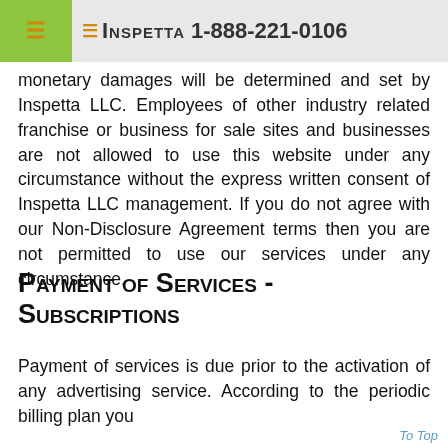≡INSPETTA 1-888-221-0106
monetary damages will be determined and set by Inspetta LLC. Employees of other industry related franchise or business for sale sites and businesses are not allowed to use this website under any circumstance without the express written consent of Inspetta LLC management. If you do not agree with our Non-Disclosure Agreement terms then you are not permitted to use our services under any circumstance.
Payment of Services - Subscriptions
Payment of services is due prior to the activation of any advertising service. According to the periodic billing plan you